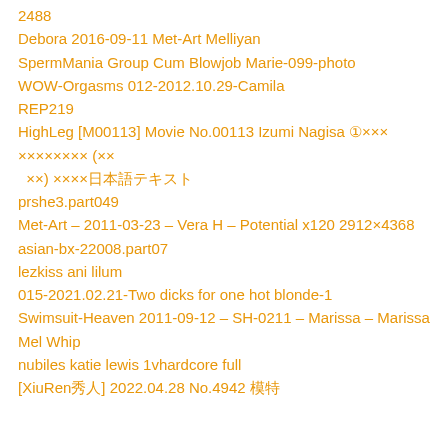2488
Debora 2016-09-11 Met-Art Melliyan
SpermMania Group Cum Blowjob Marie-099-photo
WOW-Orgasms 012-2012.10.29-Camila
REP219
HighLeg [M00113] Movie No.00113 Izumi Nagisa ①×××  ×××××××× (×××) ××××日本語テキスト
prshe3.part049
Met-Art – 2011-03-23 – Vera H – Potential x120 2912×4368
asian-bx-22008.part07
lezkiss ani lilum
015-2021.02.21-Two dicks for one hot blonde-1
Swimsuit-Heaven 2011-09-12 – SH-0211 – Marissa – Marissa
Mel Whip
nubiles katie lewis 1vhardcore full
[XiuRen秀人] 2022.04.28 No.4942 模特